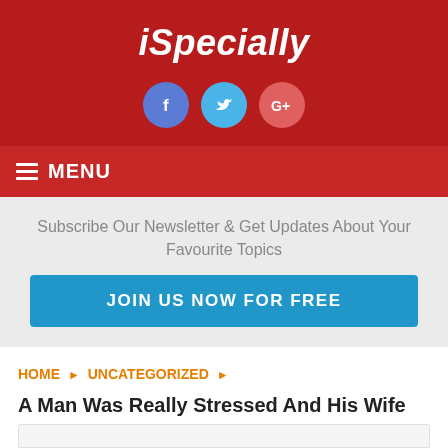iSpecially
[Figure (logo): Social media icons: Facebook (blue circle with f), Twitter (cyan circle with bird), Google+ (red-pink circle with G+)]
MENU
Subscribe Our Newsletter & Get Updates About Your Favourite Topics
JOIN US NOW FOR FREE
HOME ▸ UNCATEGORIZED ▸
A Man Was Really Stressed And His Wife Put Her Foot Down And...